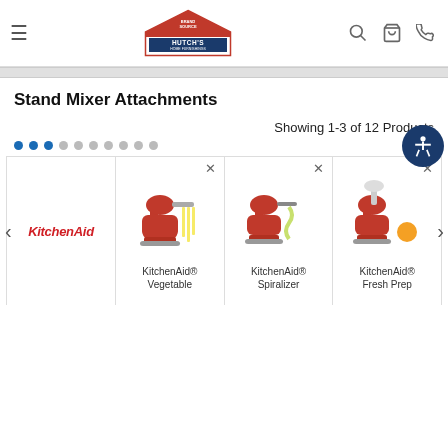[Figure (logo): Hutch's Home Furnishings / BrandSource Expert logo with house shape]
Stand Mixer Attachments
Showing 1-3 of 12 Products
[Figure (other): Pagination dots row - 3 filled blue, 7 empty gray]
[Figure (other): Accessibility icon button (dark blue circle with person icon)]
[Figure (other): KitchenAid brand logo (red italic text)]
[Figure (photo): KitchenAid red stand mixer with vegetable sheet/pasta attachment]
[Figure (photo): KitchenAid red stand mixer with spiralizer attachment]
[Figure (photo): KitchenAid red stand mixer with fresh prep attachment]
KitchenAid® Vegetable
KitchenAid® Spiralizer
KitchenAid® Fresh Prep